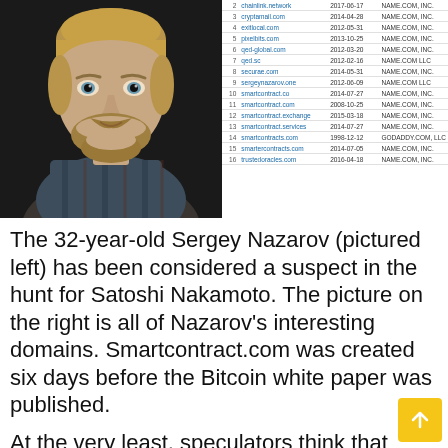[Figure (photo): Portrait photo of Sergey Nazarov, a young man with short blonde hair and a beard, wearing a plaid shirt, against a dark background.]
| # | Domain | Date | Registrar |
| --- | --- | --- | --- |
| 2 | chainlink.network | 2017-06-17 | NAME.COM, INC. |
| 3 | cryptamail.com | 2014-04-28 | NAME.COM, INC. |
| 4 | exitlocal.com | 2012-05-31 | NAME.COM, INC. |
| 5 | pixelbits.com | 2013-10-25 | NAME.COM, INC. |
| 6 | qed-global.com | 2012-03-20 | NAME.COM, INC. |
| 7 | qed.sc | 2012-02-16 | NAME.COM LLC |
| 8 | securae.com | 2014-05-31 | NAME.COM, INC. |
| 9 | sergeynazarov.one | 2012-06-09 | NAME.COM LLC |
| 10 | smartcontract.co | 2014-07-27 | NAME.COM, INC. |
| 11 | smartcontract.com | 2008-10-25 | NAME.COM, INC. |
| 12 | smartcontract.exchange | 2015-03-18 | NAME.COM, INC. |
| 13 | smartcontract.services | 2014-07-27 | NAME.COM, INC. |
| 14 | smartcontracts.com | 1998-12-12 | GODADDY.COM, LLC |
| 15 | smartercontracts.com | 2014-07-05 | NAME.COM, INC. |
| 16 | trustedoracles.com | 2016-04-18 | NAME.COM, INC. |
The 32-year-old Sergey Nazarov (pictured left) has been considered a suspect in the hunt for Satoshi Nakamoto. The picture on the right is all of Nazarov's interesting domains. Smartcontract.com was created six days before the Bitcoin white paper was published.
At the very least, speculators think that Sergey Nazarov was at least around during Satoshi's incubation period. Nazarov is currently 32-years-old and his parents are Russian immigrants who migrated to New York.